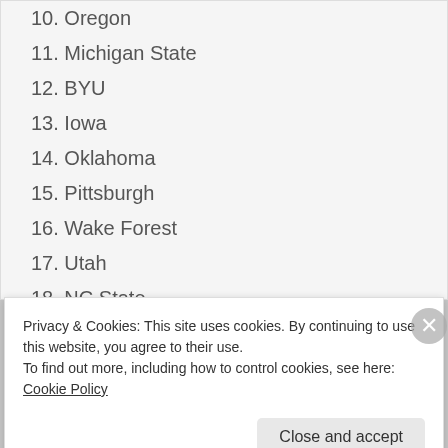10. Oregon
11. Michigan State
12. BYU
13. Iowa
14. Oklahoma
15. Pittsburgh
16. Wake Forest
17. Utah
18. NC State
19. San Diego State
20. Clemson
21. Houston
22. ARKANSAS
Privacy & Cookies: This site uses cookies. By continuing to use this website, you agree to their use.
To find out more, including how to control cookies, see here: Cookie Policy
Close and accept